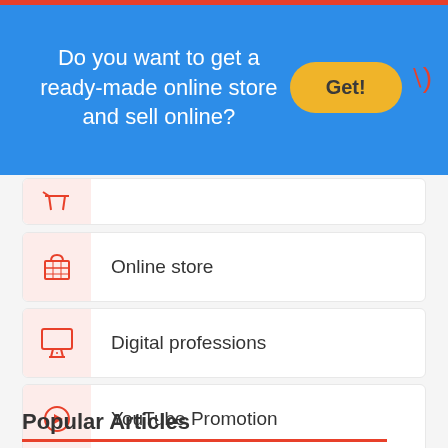[Figure (infographic): Blue promotional banner with text 'Do you want to get a ready-made online store and sell online?' and a yellow 'Get!' button, red close icon top right]
Online store
Digital professions
YouTube Promotion
Web analytics
SEO wiki
Popular Articles